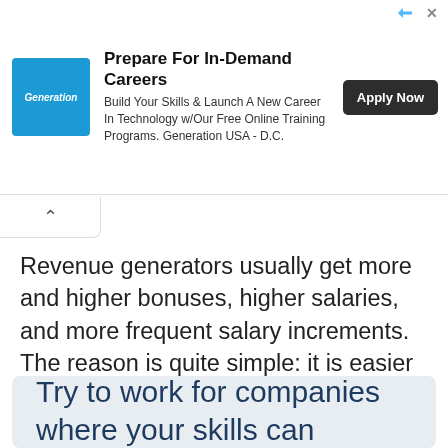[Figure (other): Advertisement banner for Generation USA featuring logo, title 'Prepare For In-Demand Careers', body text about free online training programs, and an 'Apply Now' button]
Revenue generators usually get more and higher bonuses, higher salaries, and more frequent salary increments. The reason is quite simple: it is easier to quantify your value to the company in monetary terms when you participate in revenue generation.
“Try to work for companies where your skills can